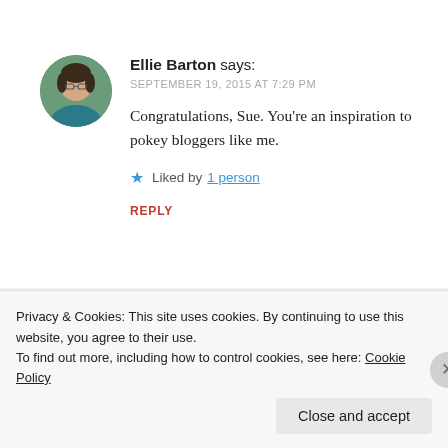[Figure (photo): Circular avatar photo of Ellie Barton — a woman with glasses and dark hair, wearing a teal jacket, outdoors with greenery background]
Ellie Barton says:
SEPTEMBER 19, 2015 AT 7:29 PM
Congratulations, Sue. You're an inspiration to pokey bloggers like me.
★ Liked by 1 person
REPLY
[Figure (photo): Partial circular avatar of another commenter, partially visible, dark hair]
Privacy & Cookies: This site uses cookies. By continuing to use this website, you agree to their use.
To find out more, including how to control cookies, see here: Cookie Policy
Close and accept